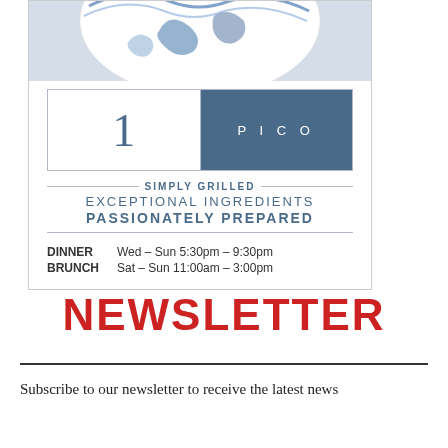[Figure (illustration): Restaurant advertisement box for PICO restaurant showing a blue and white decorative plate at top, a logo with number '1' and 'PICO' text, taglines 'SIMPLY GRILLED', 'EXCEPTIONAL INGREDIENTS', 'PASSIONATELY PREPARED', and hours for DINNER (Wed-Sun 5:30pm-9:30pm) and BRUNCH (Sat-Sun 11:00am-3:00pm)]
NEWSLETTER
Subscribe to our newsletter to receive the latest news